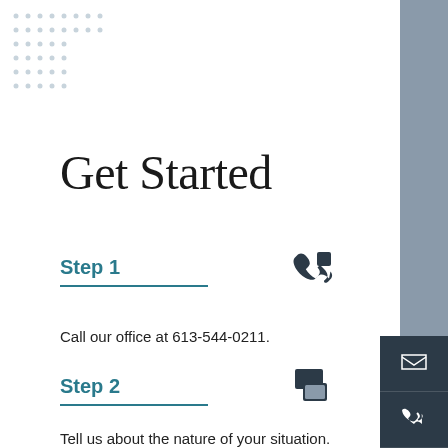[Figure (illustration): Decorative dot pattern grid in top-left corner]
Get Started
Step 1
Call our office at 613-544-0211.
Step 2
Tell us about the nature of your situation.